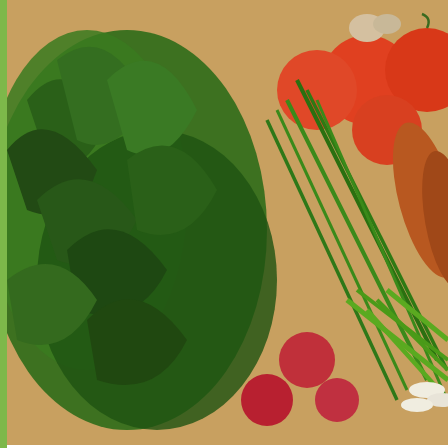[Figure (photo): Overhead photo of fresh vegetables on a wooden cutting board: leafy greens (arugula/kale), red tomatoes, garlic, sweet potatoes, green beans, and green onions]
Let's take a closer look:
Green onions, green beans
[Figure (photo): Two side-by-side close-up photos on a wooden board: left shows a bunch of green onions/scallions, right shows green beans]